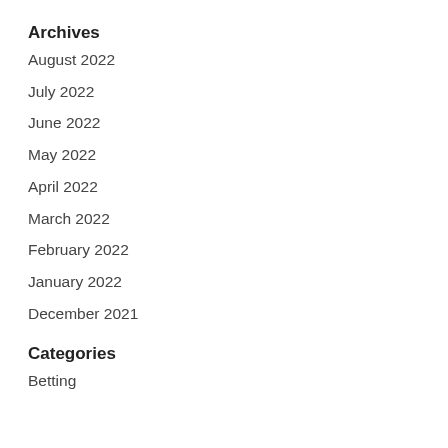Archives
August 2022
July 2022
June 2022
May 2022
April 2022
March 2022
February 2022
January 2022
December 2021
Categories
Betting